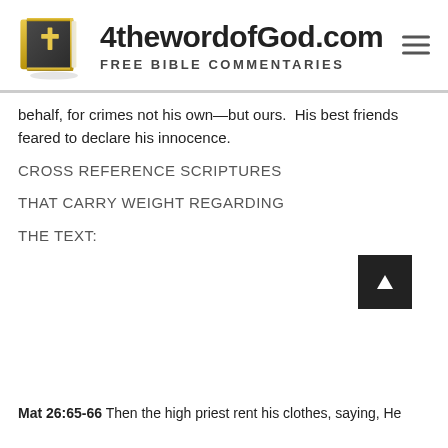[Figure (logo): 4thewordofGod.com website header with Bible book image logo and site name and tagline FREE BIBLE COMMENTARIES]
behalf, for crimes not his own—but ours.  His best friends feared to declare his innocence.
CROSS REFERENCE SCRIPTURES
THAT CARRY WEIGHT REGARDING
THE TEXT:
[Figure (other): Scroll to top button - dark square button with upward arrow]
Mat 26:65-66  Then the high priest rent his clothes, saying, He